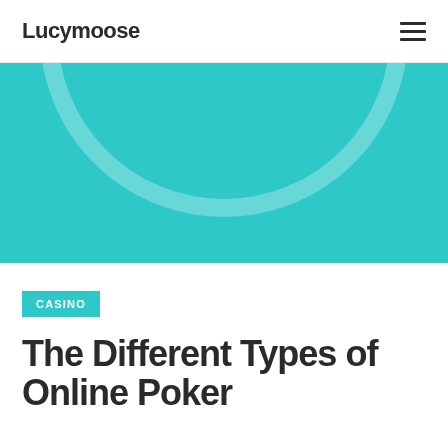Lucymoose
[Figure (illustration): Teal/cyan background hero image with a large light circular outline centered on the image]
CASINO
The Different Types of Online Poker